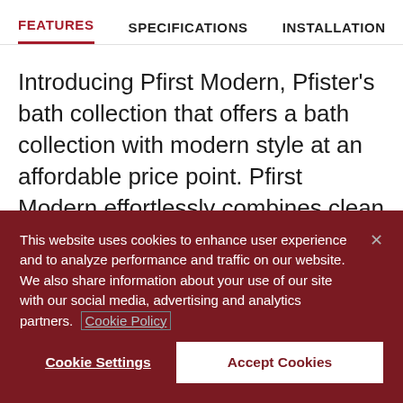FEATURES | SPECIFICATIONS | INSTALLATION >
Introducing Pfirst Modern, Pfister's bath collection that offers a bath collection with modern style at an affordable price point. Pfirst Modern effortlessly combines clean lines with contemporary curves to create an up-to-date, modern style statement based in thoughtful
This website uses cookies to enhance user experience and to analyze performance and traffic on our website. We also share information about your use of our site with our social media, advertising and analytics partners. Cookie Policy
Cookie Settings | Accept Cookies